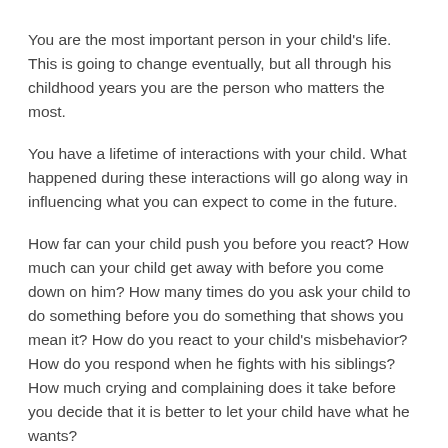You are the most important person in your child's life. This is going to change eventually, but all through his childhood years you are the person who matters the most.
You have a lifetime of interactions with your child. What happened during these interactions will go along way in influencing what you can expect to come in the future.
How far can your child push you before you react? How much can your child get away with before you come down on him? How many times do you ask your child to do something before you do something that shows you mean it? How do you react to your child's misbehavior? How do you respond when he fights with his siblings? How much crying and complaining does it take before you decide that it is better to let your child have what he wants?
If you look into the answers to these and similar questions you are going to find many of the reasons why your child behaves the way he does.